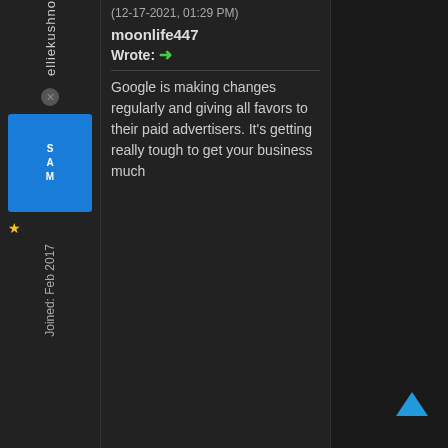elliekushno
(12-17-2021, 01:29 PM) moonlife447 Wrote: → Google is making changes regularly and giving all favors to their paid advertisers. It's getting really tough to get your business much
Joined: Feb 2017